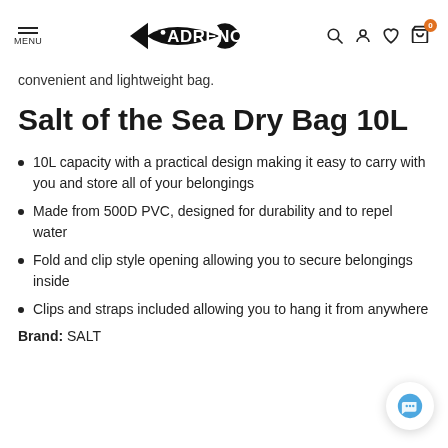ADRENO [logo with fish icon] — navigation header with menu, search, account, wishlist, cart (0)
convenient and lightweight bag.
Salt of the Sea Dry Bag 10L
10L capacity with a practical design making it easy to carry with you and store all of your belongings
Made from 500D PVC, designed for durability and to repel water
Fold and clip style opening allowing you to secure belongings inside
Clips and straps included allowing you to hang it from anywhere
Brand: SALT